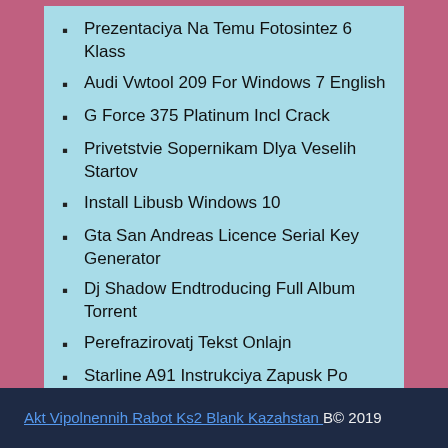Prezentaciya Na Temu Fotosintez 6 Klass
Audi Vwtool 209 For Windows 7 English
G Force 375 Platinum Incl Crack
Privetstvie Sopernikam Dlya Veselih Startov
Install Libusb Windows 10
Gta San Andreas Licence Serial Key Generator
Dj Shadow Endtroducing Full Album Torrent
Perefrazirovatj Tekst Onlajn
Starline A91 Instrukciya Zapusk Po Temperature
Akt Vipolnennih Rabot Ks2 Blank Kazahstan В© 2019